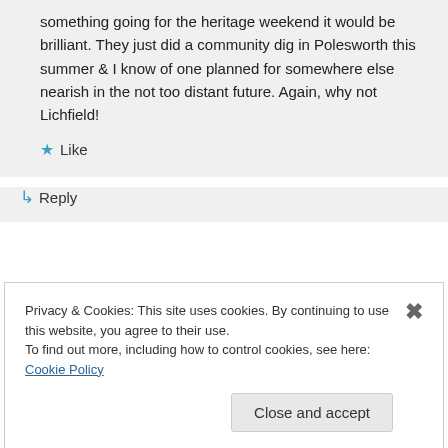something going for the heritage weekend it would be brilliant. They just did a community dig in Polesworth this summer & I know of one planned for somewhere else nearish in the not too distant future. Again, why not Lichfield!
Like
Reply
Privacy & Cookies: This site uses cookies. By continuing to use this website, you agree to their use. To find out more, including how to control cookies, see here: Cookie Policy